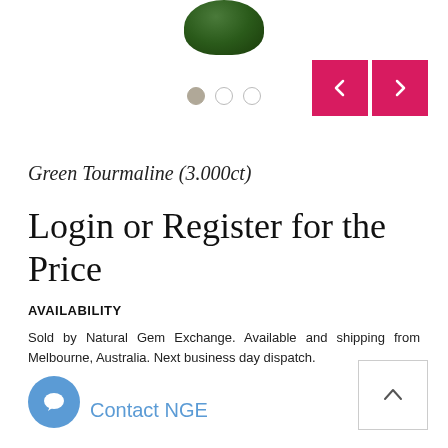[Figure (photo): Partial view of a green tourmaline gemstone at the top of the page]
[Figure (other): Image carousel navigation: three dots (first filled/active, two empty) and two pink/red arrow buttons (left and right)]
Green Tourmaline (3.000ct)
Login or Register for the Price
AVAILABILITY
Sold by Natural Gem Exchange. Available and shipping from Melbourne, Australia. Next business day dispatch.
Contact NGE